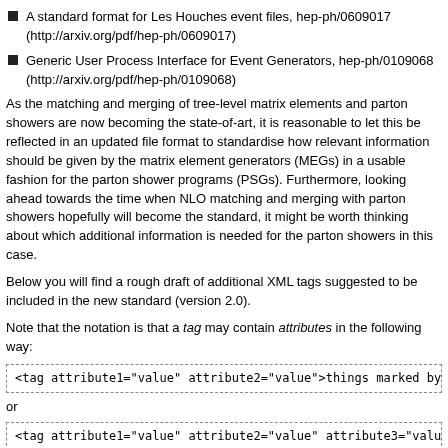A standard format for Les Houches event files, hep-ph/0609017 (http://arxiv.org/pdf/hep-ph/0609017)
Generic User Process Interface for Event Generators, hep-ph/0109068 (http://arxiv.org/pdf/hep-ph/0109068)
As the matching and merging of tree-level matrix elements and parton showers are now becoming the state-of-art, it is reasonable to let this be reflected in an updated file format to standardise how relevant information should be given by the matrix element generators (MEGs) in a usable fashion for the parton shower programs (PSGs). Furthermore, looking ahead towards the time when NLO matching and merging with parton showers hopefully will become the standard, it might be worth thinking about which additional information is needed for the parton showers in this case.
Below you will find a rough draft of additional XML tags suggested to be included in the new standard (version 2.0).
Note that the notation is that a tag may contain attributes in the following way:
<tag attribute1="value" attribute2="value">things marked by the tag</
or
<tag attribute1="value" attribute2="value" attribute3="value" />
Run information